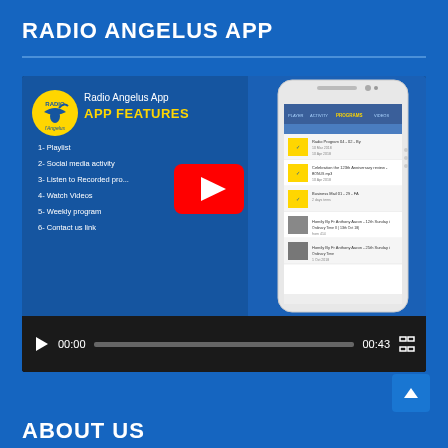RADIO ANGELUS APP
[Figure (screenshot): YouTube video embed showing Radio Angelus App promotional video with app features list and phone mockup screenshot. Video player controls show 00:00 current time and 00:43 duration.]
ABOUT US